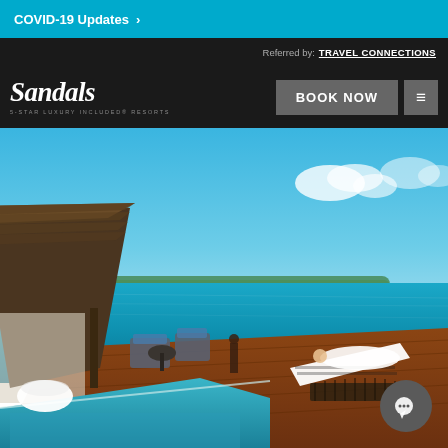COVID-19 Updates >
Referred by: TRAVEL CONNECTIONS
[Figure (logo): Sandals 5-Star Luxury Included Resorts logo in white italic script on dark background]
BOOK NOW
[Figure (photo): Luxury overwater bungalow resort scene with thatched roof hut, wooden deck over turquoise Caribbean water, lounge chairs, a person standing at water's edge, and a pool in the foreground under blue sky]